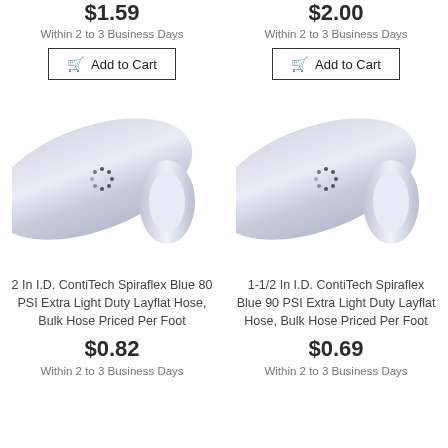$1.59
$2.00
Within 2 to 3 Business Days
Within 2 to 3 Business Days
Add to Cart
Add to Cart
[Figure (photo): Light blue/white layflat hose, diagonal view showing open end]
[Figure (photo): Light blue/white layflat hose, diagonal view showing open end]
2 In I.D. ContiTech Spiraflex Blue 80 PSI Extra Light Duty Layflat Hose, Bulk Hose Priced Per Foot
1-1/2 In I.D. ContiTech Spiraflex Blue 90 PSI Extra Light Duty Layflat Hose, Bulk Hose Priced Per Foot
$0.82
$0.69
Within 2 to 3 Business Days
Within 2 to 3 Business Days